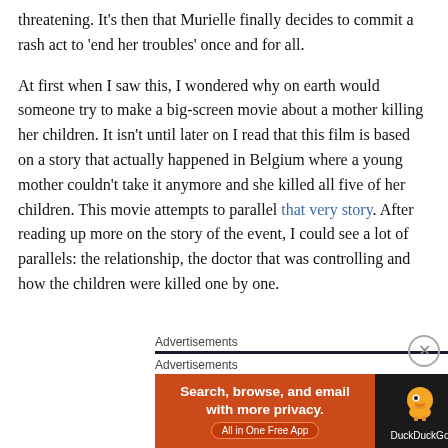threatening. It's then that Murielle finally decides to commit a rash act to 'end her troubles' once and for all.
At first when I saw this, I wondered why on earth would someone try to make a big-screen movie about a mother killing her children. It isn't until later on I read that this film is based on a story that actually happened in Belgium where a young mother couldn't take it anymore and she killed all five of her children. This movie attempts to parallel that very story. After reading up more on the story of the event, I could see a lot of parallels: the relationship, the doctor that was controlling and how the children were killed one by one.
Advertisements
[Figure (other): DuckDuckGo advertisement banner: orange background with text 'Search, browse, and email with more privacy. All in One Free App' and DuckDuckGo logo on dark background.]